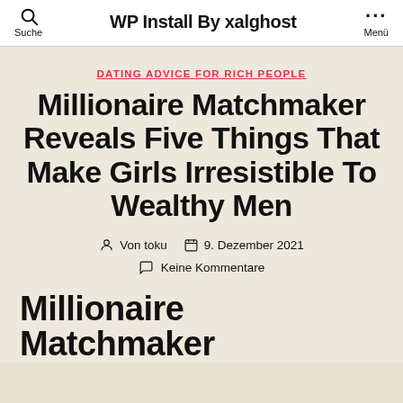WP Install By xalghost | Suche | Menü
DATING ADVICE FOR RICH PEOPLE
Millionaire Matchmaker Reveals Five Things That Make Girls Irresistible To Wealthy Men
Von toku  9. Dezember 2021
Keine Kommentare
Millionaire Matchmaker